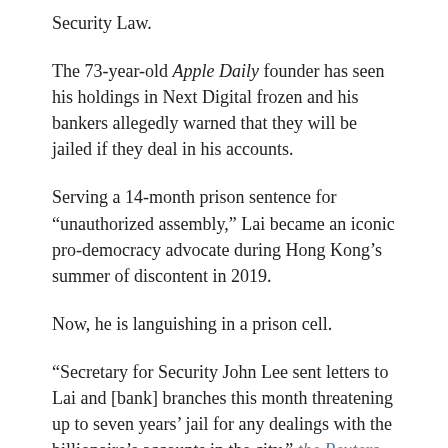Security Law.
The 73-year-old Apple Daily founder has seen his holdings in Next Digital frozen and his bankers allegedly warned that they will be jailed if they deal in his accounts.
Serving a 14-month prison sentence for “unauthorized assembly,” Lai became an iconic pro-democracy advocate during Hong Kong’s summer of discontent in 2019.
Now, he is languishing in a prison cell.
“Secretary for Security John Lee sent letters to Lai and [bank] branches this month threatening up to seven years’ jail for any dealings with the billionaire’s accounts in the city,” the Reuters news agency reported after seeing the documents.